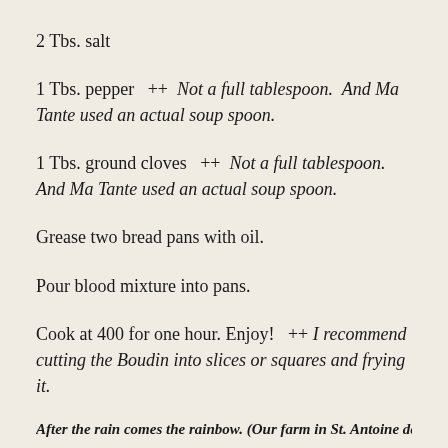2 Tbs. salt
1 Tbs. pepper  ++  Not a full tablespoon.  And Ma Tante used an actual soup spoon.
1 Tbs. ground cloves  ++  Not a full tablespoon.  And Ma Tante used an actual soup spoon.
Grease two bread pans with oil.
Pour blood mixture into pans.
Cook at 400 for one hour. Enjoy!  ++  I recommend cutting the Boudin into slices or squares and frying it.
After the rain comes the rainbow. (Our farm in St. Antoine de Tilly